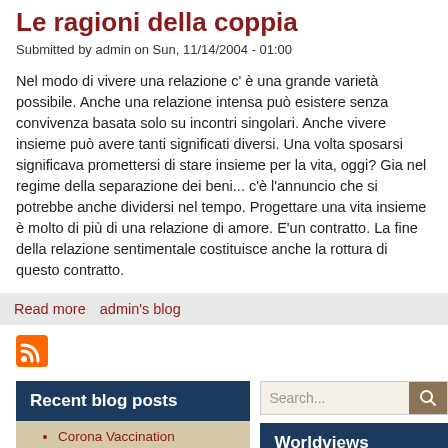Le ragioni della coppia
Submitted by admin on Sun, 11/14/2004 - 01:00
Nel modo di vivere una relazione c' è una grande varietà possibile. Anche una relazione intensa può esistere senza convivenza basata solo su incontri singolari. Anche vivere insieme può avere tanti significati diversi. Una volta sposarsi significava promettersi di stare insieme per la vita, oggi? Gia nel regime della separazione dei beni... c'è l'annuncio che si potrebbe anche dividersi nel tempo. Progettare una vita insieme è molto di più di una relazione di amore. E'un contratto. La fine della relazione sentimentale costituisce anche la rottura di questo contratto.
Read more   admin's blog
[Figure (other): RSS feed icon - orange square with white radio wave symbol]
Recent blog posts
Corona Vaccination
Search...
Worldviews